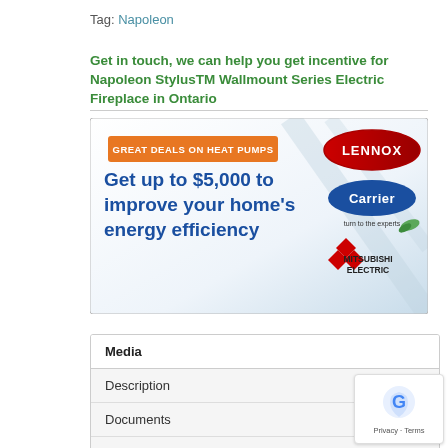Tag: Napoleon
Get in touch, we can help you get incentive for Napoleon StylusTM Wallmount Series Electric Fireplace in Ontario
[Figure (infographic): Advertisement banner: orange button 'GREAT DEALS ON HEAT PUMPS', blue bold text 'Get up to $5,000 to improve your home's energy efficiency', logos for Lennox, Carrier, and Mitsubishi Electric on right side with diagonal silver/blue background.]
| Media |
| --- |
| Description |
| Documents |
| Reviews (0) |